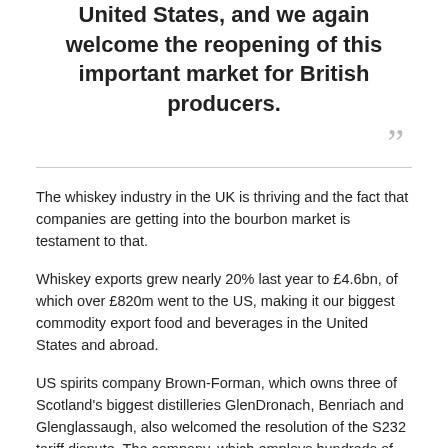United States, and we again welcome the reopening of this important market for British producers.
The whiskey industry in the UK is thriving and the fact that companies are getting into the bourbon market is testament to that.
Whiskey exports grew nearly 20% last year to £4.6bn, of which over £820m went to the US, making it our biggest commodity export food and beverages in the United States and abroad.
US spirits company Brown-Forman, which owns three of Scotland's biggest distilleries GlenDronach, Benriach and Glenglassaugh, also welcomed the resolution of the S232 tariff dispute. The company, which employs hundreds of